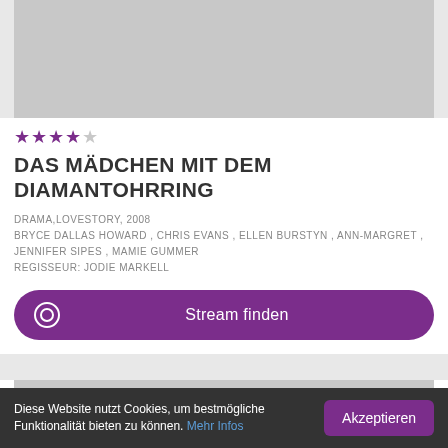[Figure (photo): Gray placeholder image for movie poster]
★★★★☆
DAS MÄDCHEN MIT DEM DIAMANTOHRRING
DRAMA,LOVESTORY, 2008
BRYCE DALLAS HOWARD , CHRIS EVANS , ELLEN BURSTYN , ANN-MARGRET , JENNIFER SIPES , MAMIE GUMMER
REGISSEUR: JODIE MARKELL
Stream finden
[Figure (photo): Gray placeholder image for second movie]
Diese Website nutzt Cookies, um bestmögliche Funktionalität bieten zu können. Mehr Infos